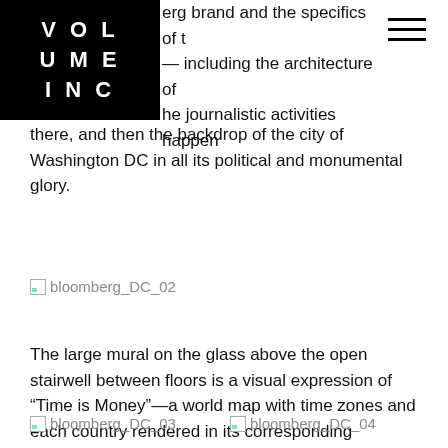[Figure (logo): Volume Inc logo — white text on black background reading VOL / UME / INC]
erg brand and the specifics of t — including the architecture of he journalistic activities happen
[Figure (other): Hamburger menu icon (three horizontal lines)]
there, and then the backdrop of the city of Washington DC in all its political and monumental glory.
[Figure (photo): Broken image placeholder labeled bloomberg_DC_02]
The large mural on the glass above the open stairwell between floors is a visual expression of “Time is Money”—a world map with time zones and each country rendered in its corresponding currency sign.
[Figure (photo): Broken image placeholder labeled bloomberg_DC_03]
[Figure (photo): Broken image placeholder labeled bloomberg_DC_04]